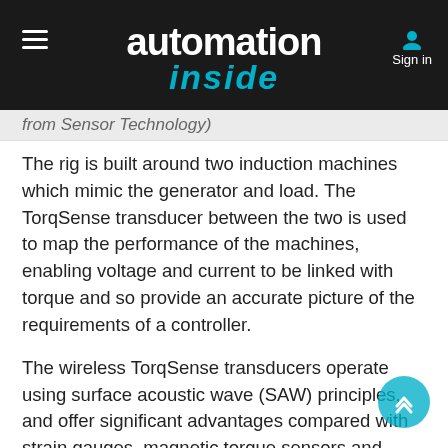automation inside — Sign in
from Sensor Technology)
The rig is built around two induction machines which mimic the generator and load. The TorqSense transducer between the two is used to map the performance of the machines, enabling voltage and current to be linked with torque and so provide an accurate picture of the requirements of a controller.
The wireless TorqSense transducers operate using surface acoustic wave (SAW) principles, and offer significant advantages compared with strain gauges, magnetic torque sensors and optical devices that might be fitted conventionally. Each TorqSense sensor uses two tiny SAW devices made of ceramic piezoelectric